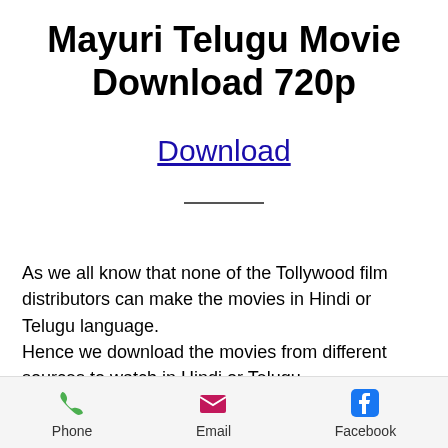Mayuri Telugu Movie Download 720p
Download
As we all know that none of the Tollywood film distributors can make the movies in Hindi or Telugu language.
Hence we download the movies from different sources to watch in Hindi or Telugu
Phone  Email  Facebook